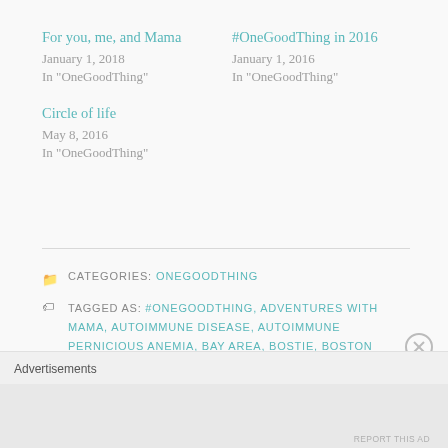For you, me, and Mama
January 1, 2018
In "OneGoodThing"
#OneGoodThing in 2016
January 1, 2016
In "OneGoodThing"
Circle of life
May 8, 2016
In "OneGoodThing"
CATEGORIES: ONEGOODTHING
TAGGED AS: #ONEGOODTHING, ADVENTURES WITH MAMA, AUTOIMMUNE DISEASE, AUTOIMMUNE PERNICIOUS ANEMIA, BAY AREA, BOSTIE, BOSTON TERRIER, BOSTON TERRIER RESCUE, BRAIN CANCER, BRAIN CANCER CAREGIVER, BRAIN TUMOR, CANCER CAREGIVER, CANINE EAR INFECTION, CARE FOR THE
Advertisements